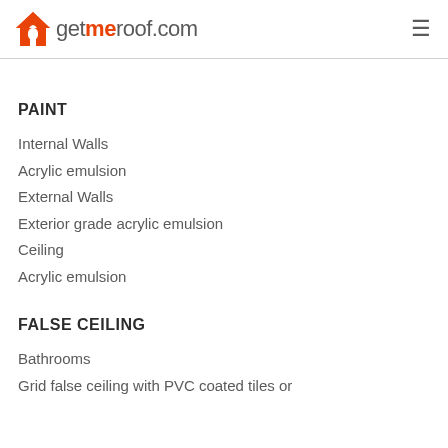getmeroof.com
PAINT
Internal Walls
Acrylic emulsion
External Walls
Exterior grade acrylic emulsion
Ceiling
Acrylic emulsion
FALSE CEILING
Bathrooms
Grid false ceiling with PVC coated tiles or